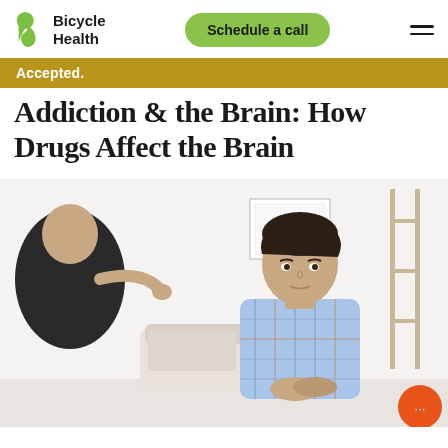Bicycle Health — Schedule a call
Accepted.
Addiction & the Brain: How Drugs Affect the Brain
[Figure (photo): A teenage boy with dark hair wearing a plaid shirt sits leaning forward with his hands clasped, looking attentively at a person across from him (seen from behind/side, blurred). They appear to be in a counseling or therapy session in a bright white room. A framed motivational poster is visible on the wall in the background.]